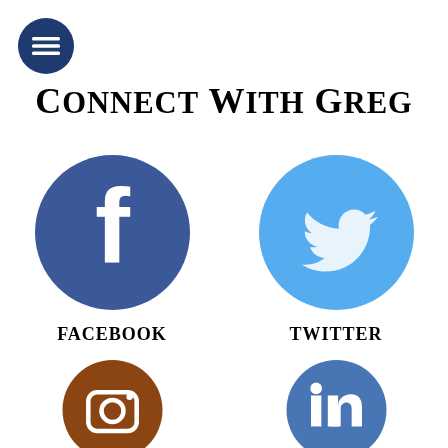[Figure (logo): Hamburger menu icon — dark navy circle with three horizontal white lines]
CONNECT WITH GREG
[Figure (logo): Facebook logo — dark blue circle with white lowercase f]
FACEBOOK
[Figure (logo): Twitter logo — light blue circle with white Twitter bird]
TWITTER
[Figure (logo): Instagram logo — brown/reddish circle with white Instagram camera icon, partially cropped]
[Figure (logo): LinkedIn or similar — blue circle with white icon, partially cropped]